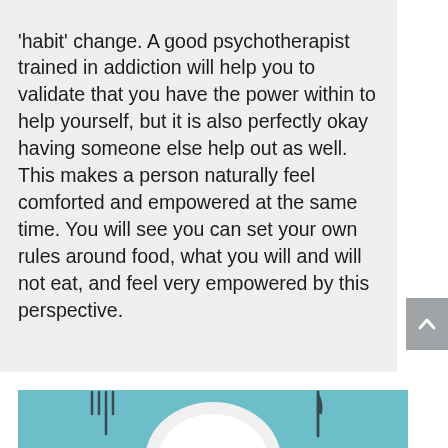'habit' change. A good psychotherapist trained in addiction will help you to validate that you have the power within to help yourself, but it is also perfectly okay having someone else help out as well. This makes a person naturally feel comforted and empowered at the same time. You will see you can set your own rules around food, what you will and will not eat, and feel very empowered by this perspective.
[Figure (photo): A white plate with a fork on the left and a knife on the right, photographed from above on a teal/light blue background. Partial view cropped at bottom of page.]